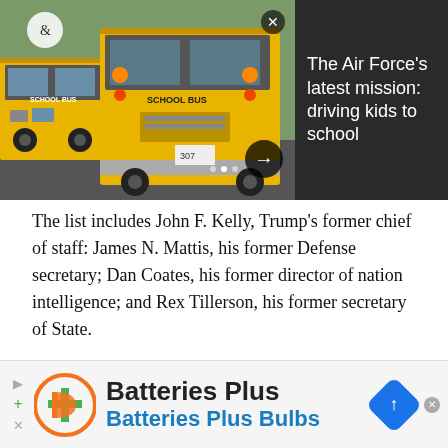[Figure (photo): Yellow school buses lined up at a street intersection, front view of buses with 'SCHOOL BUS' text visible on the front.]
The Air Force's latest mission: driving kids to school
The list includes John F. Kelly, Trump's former chief of staff: James N. Mattis, his former Defense secretary; Dan Coates, his former director of nation intelligence; and Rex Tillerson, his former secretary of State.
Like Bolton, they were quickly labeled losers, liars or worse by the man who once lavishly praised their
[Figure (logo): Batteries Plus / Batteries Plus Bulbs advertisement banner with orange and green logo icon and blue navigation icon on the right.]